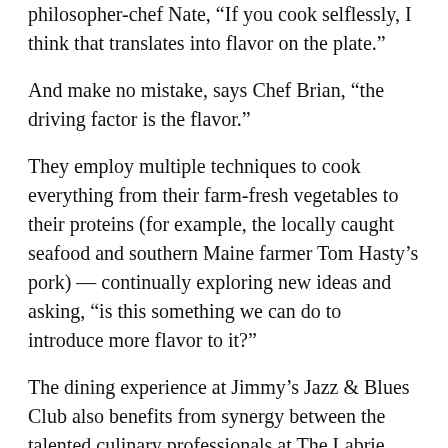philosopher-chef Nate, “If you cook selflessly, I think that translates into flavor on the plate.”
And make no mistake, says Chef Brian, “the driving factor is the flavor.”
They employ multiple techniques to cook everything from their farm-fresh vegetables to their proteins (for example, the locally caught seafood and southern Maine farmer Tom Hasty’s pork) — continually exploring new ideas and asking, “is this something we can do to introduce more flavor to it?”
The dining experience at Jimmy’s Jazz & Blues Club also benefits from synergy between the talented culinary professionals at The Labrie Group’s other restaurants — The Atlantic Grill in Rye, the popular waterfront River House in downtown Portsmouth and now, right next